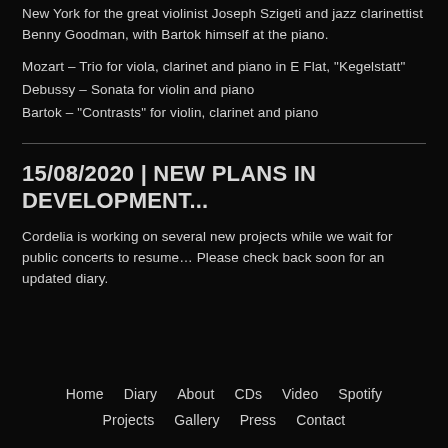New York for the great violinist Joseph Szigeti and jazz clarinettist Benny Goodman, with Bartok himself at the piano.
Mozart – Trio for viola, clarinet and piano in E Flat, "Kegelstatt"
Debussy – Sonata for violin and piano
Bartok – "Contrasts" for violin, clarinet and piano
15/08/2020 | NEW PLANS IN DEVELOPMENT...
Cordelia is working on several new projects while we wait for public concerts to resume… Please check back soon for an updated diary.
Home   Diary   About   CDs   Video   Spotify   Projects   Gallery   Press   Contact